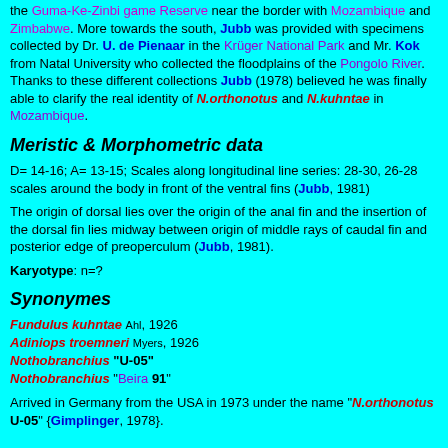the Guma-Ke-Zinbi game Reserve near the border with Mozambique and Zimbabwe. More towards the south, Jubb was provided with specimens collected by Dr. U. de Pienaar in the Krüger National Park and Mr. Kok from Natal University who collected the floodplains of the Pongolo River. Thanks to these different collections Jubb (1978) believed he was finally able to clarify the real identity of N.orthonotus and N.kuhntae in Mozambique.
Meristic & Morphometric data
D= 14-16; A= 13-15; Scales along longitudinal line series: 28-30, 26-28 scales around the body in front of the ventral fins (Jubb, 1981)
The origin of dorsal lies over the origin of the anal fin and the insertion of the dorsal fin lies midway between origin of middle rays of caudal fin and posterior edge of preoperculum (Jubb, 1981).
Karyotype: n=?
Synonymes
Fundulus kuhntae Ahl, 1926
Adiniops troemneri Myers, 1926
Nothobranchius "U-05"
Nothobranchius "Beira 91"
Arrived in Germany from the USA in 1973 under the name "N.orthonotus U-05" {Gimplinger, 1978}.